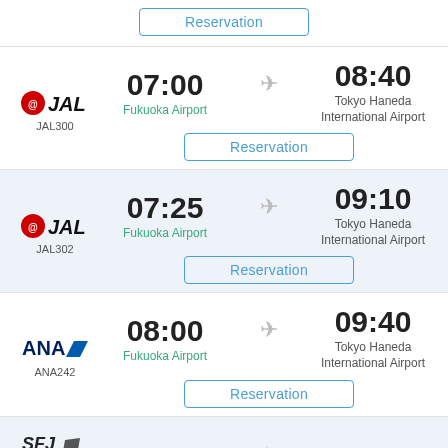[Figure (screenshot): Top partial flight row showing only a Reservation button]
[Figure (infographic): JAL300 flight: Fukuoka Airport 07:00 to Tokyo Haneda International Airport 08:40, with Reservation button]
[Figure (infographic): JAL302 flight: Fukuoka Airport 07:25 to Tokyo Haneda International Airport 09:10, with Reservation button]
[Figure (infographic): ANA242 flight: Fukuoka Airport 08:00 to Tokyo Haneda International Airport 09:40, with Reservation button]
[Figure (infographic): SFJ74 flight: 08:00 to 09:35, partial row visible at bottom]